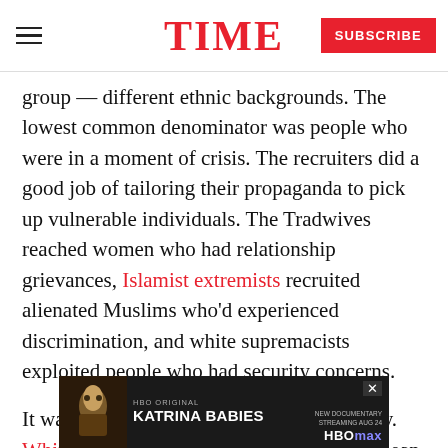TIME | SUBSCRIBE
group — different ethnic backgrounds. The lowest common denominator was people who were in a moment of crisis. The recruiters did a good job of tailoring their propaganda to pick up vulnerable individuals. The Tradwives reached women who had relationship grievances, Islamist extremists recruited alienated Muslims who'd experienced discrimination, and white supremacists exploited people who had security concerns.
It was a major part of the recruiters' strategy. White supremacist networks, like the European far right, have a clear step-by-step radicalization...
[Figure (other): Advertisement banner for HBO Original documentary 'Katrina Babies', streaming on HBO Max. Dark background with movie imagery on left, text on right showing 'HBO ORIGINAL', 'KATRINA BABIES', 'NEW DOCUMENTARY STREAMING AUG 24', 'HBOmax'. Close button X in top right.]